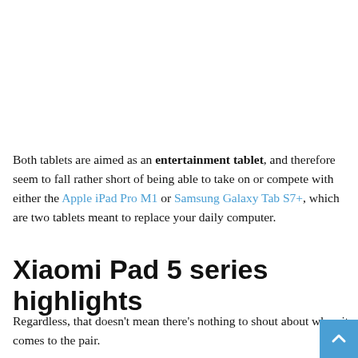Both tablets are aimed as an entertainment tablet, and therefore seem to fall rather short of being able to take on or compete with either the Apple iPad Pro M1 or Samsung Galaxy Tab S7+, which are two tablets meant to replace your daily computer.
Xiaomi Pad 5 series highlights
Regardless, that doesn't mean there's nothing to shout about when it comes to the pair.